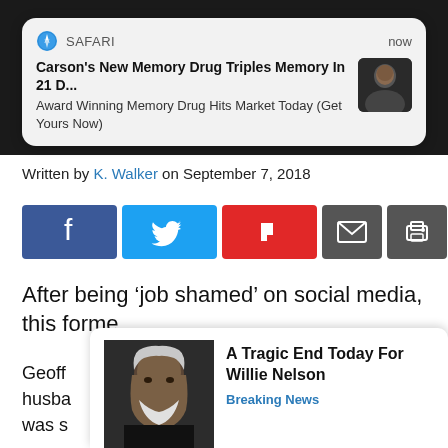[Figure (screenshot): Safari browser push notification popup: 'Carson's New Memory Drug Triples Memory In 21 D...' / 'Award Winning Memory Drug Hits Market Today (Get Yours Now)' with a thumbnail photo of a man]
Written by K. Walker on September 7, 2018
[Figure (infographic): Social share buttons row: Facebook (blue), Twitter (light blue), Flipboard (red), Email (dark grey), Print (dark grey)]
After being ‘job shamed’ on social media, this forme
Geoff (the husba dra,) was s 's in
[Figure (screenshot): Bottom ad popup: photo of elderly man with 'A Tragic End Today For Willie Nelson' and 'Breaking News' label]